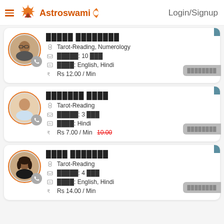Astroswami | Login/Signup
█████ ████████ | Tarot-Reading, Numerology | █████: 10 ███ | ████: English, Hindi | Rs 12.00 / Min
███████ ████ | Tarot-Reading | █████: 3 ███ | ████: Hindi | Rs 7.00 / Min 10.00
████ ███████ | Tarot-Reading | █████: 4 ███ | ████: English, Hindi | Rs 14.00 / Min